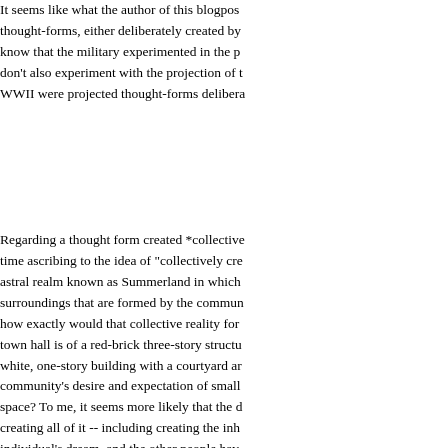It seems like what the author of this blogpost thought-forms, either deliberately created by know that the military experimented in the p don't also experiment with the projection of t WWII were projected thought-forms delibera
Regarding a thought form created *collectiv time ascribing to the idea of "collectively cre astral realm known as Summerland in which surroundings that are formed by the commun how exactly would that collective reality for town hall is of a red-brick three-story structu white, one-story building with a courtyard ar community's desire and expectation of small space? To me, it seems more likely that the d creating all of it -- including creating the inh individual's dream, and the other people hav populating that person's fantasy. I know this hand, but it leads me to the subject of UFOs
It's hard for me to believe that "UFOs" come forms. Their behavior is not haphazard at all precise. It seems more plausible that they co accidentally, by a single psi-gifted individual Parapsychologist Evans Toft in his fascinating